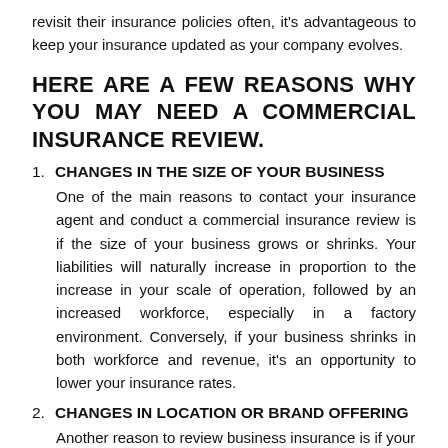revisit their insurance policies often, it's advantageous to keep your insurance updated as your company evolves.
HERE ARE A FEW REASONS WHY YOU MAY NEED A COMMERCIAL INSURANCE REVIEW.
1. CHANGES IN THE SIZE OF YOUR BUSINESS
One of the main reasons to contact your insurance agent and conduct a commercial insurance review is if the size of your business grows or shrinks. Your liabilities will naturally increase in proportion to the increase in your scale of operation, followed by an increased workforce, especially in a factory environment. Conversely, if your business shrinks in both workforce and revenue, it's an opportunity to lower your insurance rates.
2. CHANGES IN LOCATION OR BRAND OFFERING
Another reason to review business insurance is if your